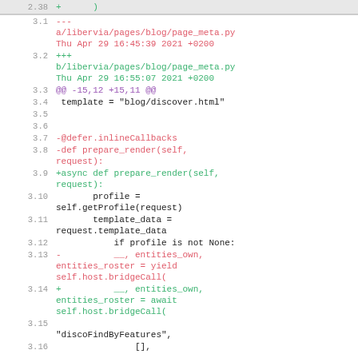[Figure (screenshot): Code diff view showing a Python file diff with line numbers, red deleted lines and green added lines, purple hunk headers, and black context lines.]